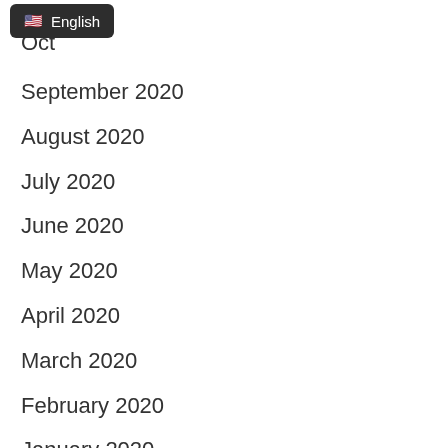Nov
[Figure (screenshot): Dropdown menu showing US flag emoji and 'English' text on dark background]
Oct
September 2020
August 2020
July 2020
June 2020
May 2020
April 2020
March 2020
February 2020
January 2020
December 2019
November 2019